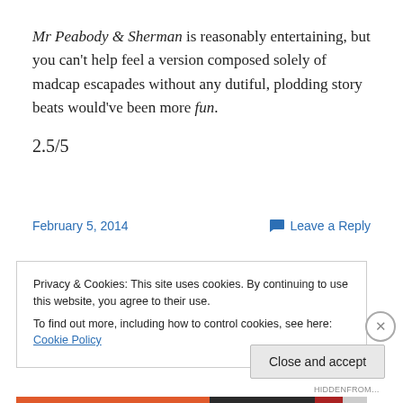Mr Peabody & Sherman is reasonably entertaining, but you can't help feel a version composed solely of madcap escapades without any dutiful, plodding story beats would've been more fun.
2.5/5
February 5, 2014
Leave a Reply
Privacy & Cookies: This site uses cookies. By continuing to use this website, you agree to their use.
To find out more, including how to control cookies, see here: Cookie Policy